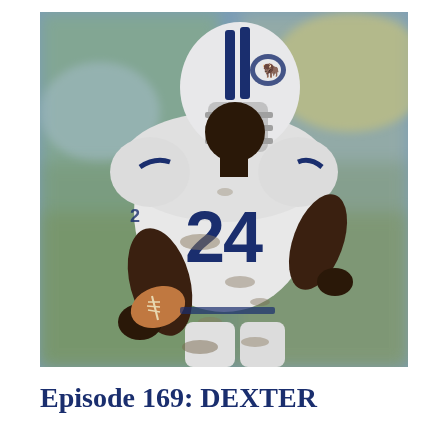[Figure (photo): A football player wearing jersey number 24 in a white uniform with blue lettering and a white helmet with blue stripes and a buffalo logo, running with the football tucked under his left arm. The uniform is muddy and the player is in mid-stride. The background is blurred showing a stadium setting.]
Episode 169: DEXTER